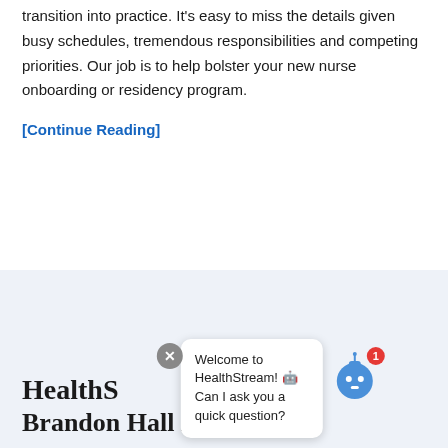transition into practice. It's easy to miss the details given busy schedules, tremendous responsibilities and competing priorities. Our job is to help bolster your new nurse onboarding or residency program.
[Continue Reading]
HealthS...
Brandon Hall Excellen...